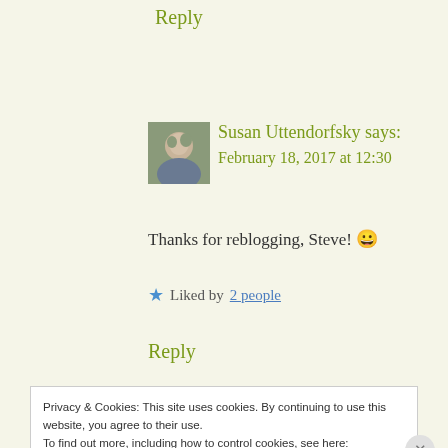Reply
Susan Uttendorfsky says:
February 18, 2017 at 12:30
[Figure (photo): Small avatar photo of Susan Uttendorfsky]
Thanks for reblogging, Steve! 😀
★ Liked by 2 people
Reply
Privacy & Cookies: This site uses cookies. By continuing to use this website, you agree to their use.
To find out more, including how to control cookies, see here:
Wordpress Cookie Policy
CLOSE & ACCEPT